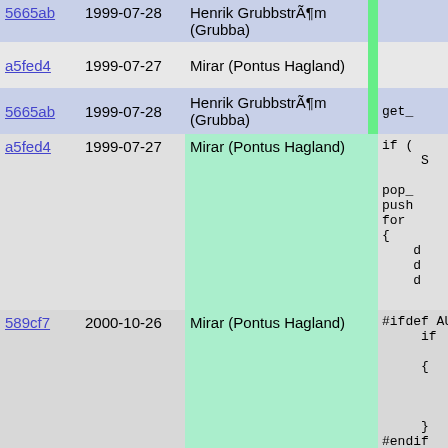| commit | date | author | highlight | code |
| --- | --- | --- | --- | --- |
| 5665ab | 1999-07-28 | Henrik GrubbstrÃ¶m (Grubba) |  | get_ |
| a5fed4 | 1999-07-27 | Mirar (Pontus Hagland) |  |  |
| 5665ab | 1999-07-28 | Henrik GrubbstrÃ¶m (Grubba) |  | get_ |
| a5fed4 | 1999-07-27 | Mirar (Pontus Hagland) |  | if (
     S

pop_
push
for
{
    d
    d
    d |
| 589cf7 | 2000-10-26 | Mirar (Pontus Hagland) |  | #ifdef AUT
     if

     {




     }
#endif |
| a5fed4 | 1999-07-27 | Mirar (Pontus Hagland) |  | st |